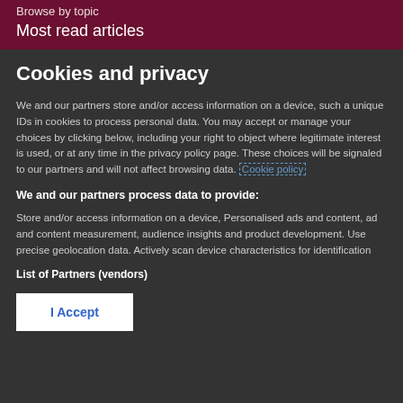Browse by topic
Most read articles
Cookies and privacy
We and our partners store and/or access information on a device, such a unique IDs in cookies to process personal data. You may accept or manage your choices by clicking below, including your right to object where legitimate interest is used, or at any time in the privacy policy page. These choices will be signaled to our partners and will not affect browsing data. Cookie policy
We and our partners process data to provide:
Store and/or access information on a device, Personalised ads and content, ad and content measurement, audience insights and product development. Use precise geolocation data. Actively scan device characteristics for identification
List of Partners (vendors)
I Accept